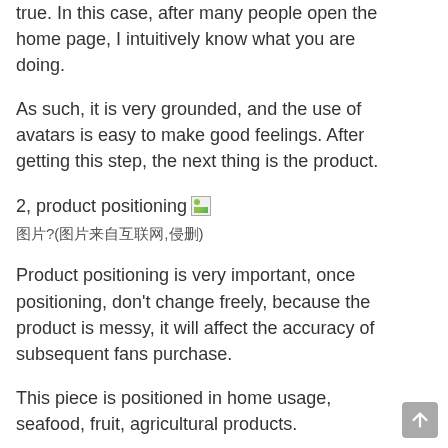true. In this case, after many people open the home page, I intuitively know what you are doing.
As such, it is very grounded, and the use of avatars is easy to make good feelings. After getting this step, the next thing is the product.
2, product positioning [image] 图片?(图片来自互联网,侵删)
Product positioning is very important, once positioning, don't change freely, because the product is messy, it will affect the accuracy of subsequent fans purchase.
This piece is positioned in home usage, seafood, fruit, agricultural products.
However, in accordance with the current situation, the fruit of the fruits of the fruit is more likely to be favored, because it is already in the summer, many families have demand for fruit.
There is a market, but as a new account, a little traffic is not, the start is the most difficult, so the drainage is very important.